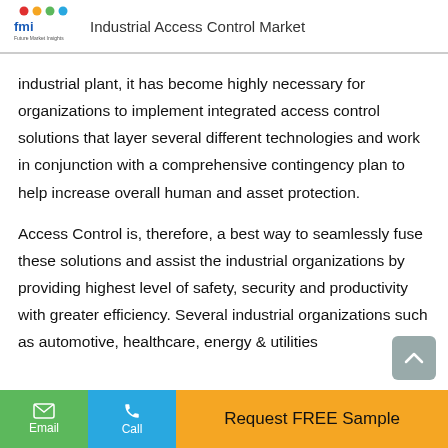Industrial Access Control Market
industrial plant, it has become highly necessary for organizations to implement integrated access control solutions that layer several different technologies and work in conjunction with a comprehensive contingency plan to help increase overall human and asset protection.
Access Control is, therefore, a best way to seamlessly fuse these solutions and assist the industrial organizations by providing highest level of safety, security and productivity with greater efficiency. Several industrial organizations such as automotive, healthcare, energy & utilities